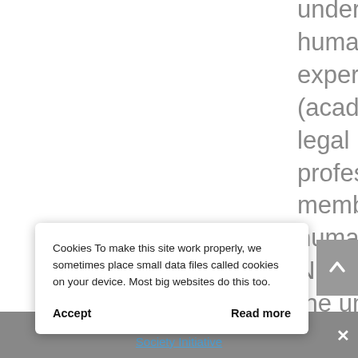undertaken by human rights experts (academics, legal professionals, members of human rights NGOs) under the umbrella of the independent thinktank 'Britain in Europe'
[Figure (other): Back-to-top navigation button, gray square with upward pointing chevron arrow]
Cookies To make this site work properly, we sometimes place small data files called cookies on your device. Most big websites do this too.
Accept    Read more
Society Initiative